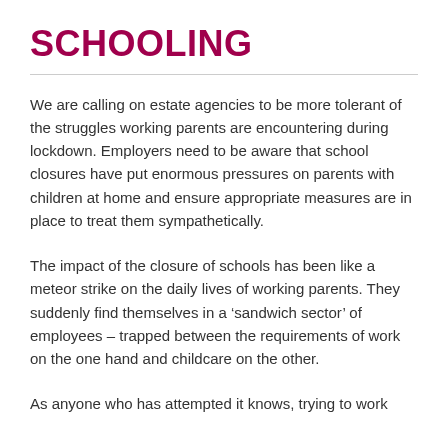SCHOOLING
We are calling on estate agencies to be more tolerant of the struggles working parents are encountering during lockdown. Employers need to be aware that school closures have put enormous pressures on parents with children at home and ensure appropriate measures are in place to treat them sympathetically.
The impact of the closure of schools has been like a meteor strike on the daily lives of working parents. They suddenly find themselves in a ‘sandwich sector’ of employees – trapped between the requirements of work on the one hand and childcare on the other.
As anyone who has attempted it knows, trying to work